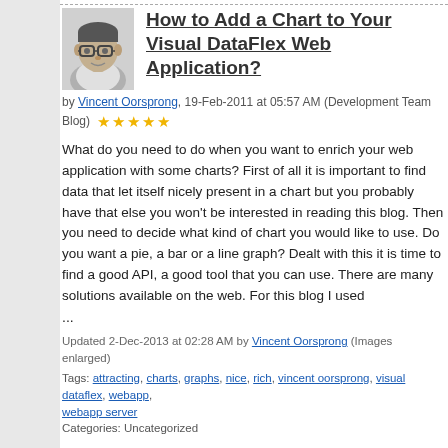[Figure (photo): Black and white portrait photo of a man wearing glasses]
How to Add a Chart to Your Visual DataFlex Web Application?
by Vincent Oorsprong, 19-Feb-2011 at 05:57 AM (Development Team Blog) ★★★★★
What do you need to do when you want to enrich your web application with some charts? First of all it is important to find data that let itself nicely present in a chart but you probably have that else you won't be interested in reading this blog. Then you need to decide what kind of chart you would like to use. Do you want a pie, a bar or a line graph? Dealt with this it is time to find a good API, a good tool that you can use. There are many solutions available on the web. For this blog I used ...
Updated 2-Dec-2013 at 02:28 AM by Vincent Oorsprong (Images enlarged)
Tags: attracting, charts, graphs, nice, rich, vincent oorsprong, visual dataflex, webapp, webapp server
Categories: Uncategorized